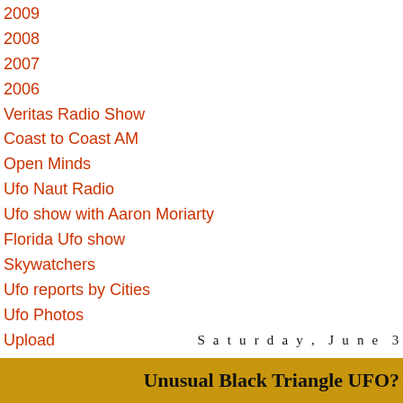2009
2008
2007
2006
Veritas Radio Show
Coast to Coast AM
Open Minds
Ufo Naut Radio
Ufo show with Aaron Moriarty
Florida Ufo show
Skywatchers
Ufo reports by Cities
Ufo Photos
Upload
Submission form
Email us
Saturday, June 3
Unusual Black Triangle UFO?